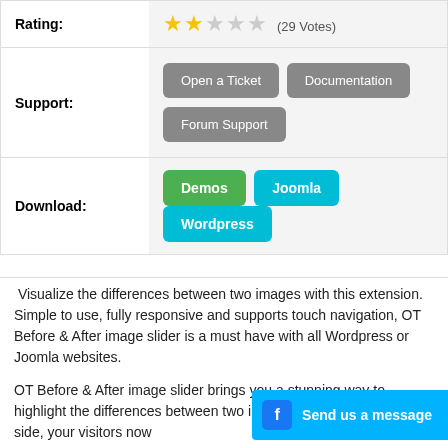|  |  |
| --- | --- |
| Rating: | ★★☆☆☆ (29 Votes) |
| Support: | Open a Ticket  Documentation  Forum Support |
| Download: | Demos  Joomla  Wordpress |
Visualize the differences between two images with this extension. Simple to use, fully responsive and supports touch navigation, OT Before & After image slider is a must have with all Wordpress or Joomla websites.
OT Before & After image slider brings you a stunning way to highlight the differences between two ima... the images side by side, your visitors now...